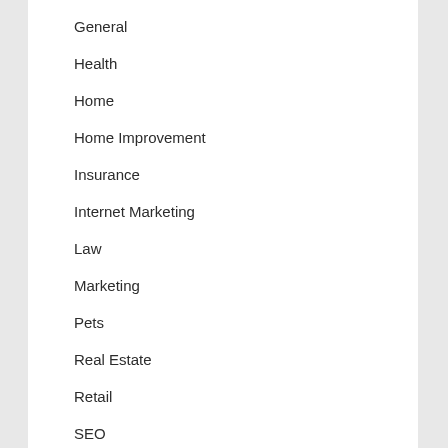General
Health
Home
Home Improvement
Insurance
Internet Marketing
Law
Marketing
Pets
Real Estate
Retail
SEO
Shopping